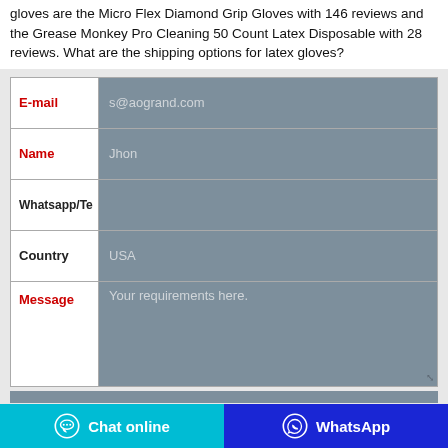gloves are the Micro Flex Diamond Grip Gloves with 146 reviews and the Grease Monkey Pro Cleaning 50 Count Latex Disposable with 28 reviews. What are the shipping options for latex gloves?
| Field | Value |
| --- | --- |
| E-mail | s@aogrand.com |
| Name | Jhon |
| Whatsapp/Te |  |
| Country | USA |
| Message | Your requirements here. |
Chat online
WhatsApp